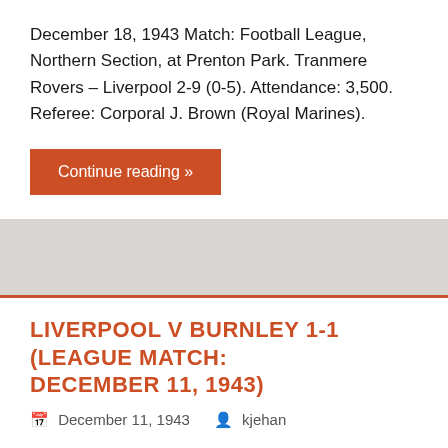December 18, 1943 Match: Football League, Northern Section, at Prenton Park. Tranmere Rovers – Liverpool 2-9 (0-5). Attendance: 3,500. Referee: Corporal J. Brown (Royal Marines).
Continue reading »
LIVERPOOL V BURNLEY 1-1 (LEAGUE MATCH: DECEMBER 11, 1943)
December 11, 1943   kjehan
December 11, 1943 Match: Football League, Northern Section, at Anfield. Liverpool – Burnley 1-1. Attendance: 11,368. Referee: Mr. F.W. Baker